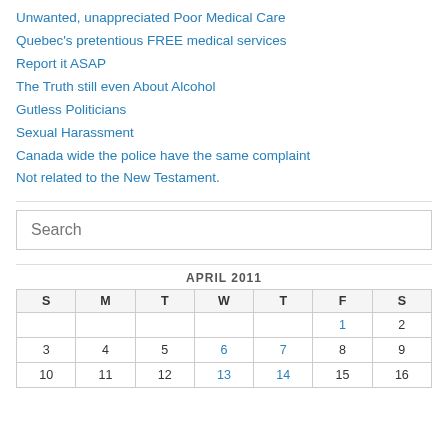Unwanted, unappreciated Poor Medical Care
Quebec's pretentious FREE medical services
Report it ASAP
The Truth still even About Alcohol
Gutless Politicians
Sexual Harassment
Canada wide the police have the same complaint
Not related to the New Testament.
Search
| S | M | T | W | T | F | S |
| --- | --- | --- | --- | --- | --- | --- |
|  |  |  |  |  | 1 | 2 |
| 3 | 4 | 5 | 6 | 7 | 8 | 9 |
| 10 | 11 | 12 | 13 | 14 | 15 | 16 |